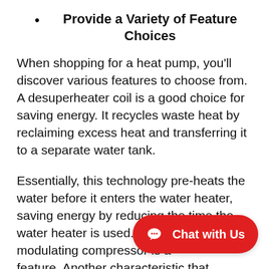Provide a Variety of Feature Choices
When shopping for a heat pump, you'll discover various features to choose from. A desuperheater coil is a good choice for saving energy. It recycles waste heat by reclaiming excess heat and transferring it to a separate water tank.
Essentially, this technology pre-heats the water before it enters the water heater, saving energy by reducing the time the water heater is used. A dual-st… modulating compressor is a… feature. Another characteristic that…